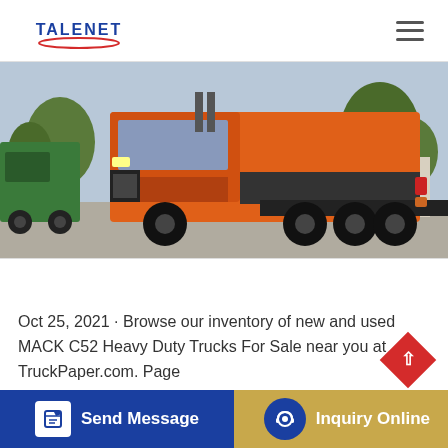TALENET
[Figure (photo): Rear three-quarter view of an orange MACK heavy duty truck/tractor parked in a lot, with green trucks visible in the background and trees behind a facility.]
Oct 25, 2021 · Browse our inventory of new and used MACK C52 Heavy Duty Trucks For Sale near you at TruckPaper.com. Page
Send Message | Inquiry Online